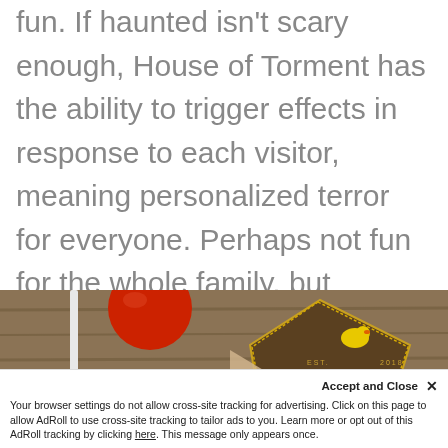fun. If haunted isn't scary enough, House of Torment has the ability to trigger effects in response to each visitor, meaning personalized terror for everyone. Perhaps not fun for the whole family, but certainly bragging rights for the brave souls who survive.
[Figure (photo): Photo showing what appears to be a wooden surface with an Austin-branded item featuring a yellow duck logo, EST. 2018 text, and the word AUSTIN visible, along with a red spherical object and a white stick/straw.]
Accept and Close ✕
Your browser settings do not allow cross-site tracking for advertising. Click on this page to allow AdRoll to use cross-site tracking to tailor ads to you. Learn more or opt out of this AdRoll tracking by clicking here. This message only appears once.